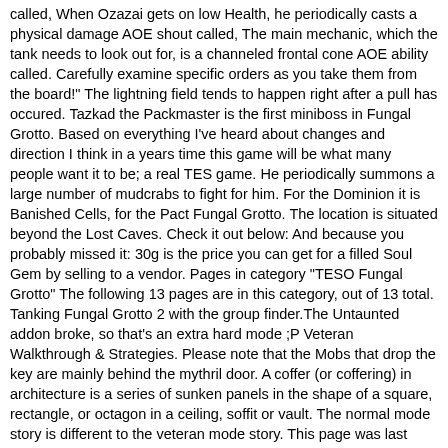called, When Ozazai gets on low Health, he periodically casts a physical damage AOE shout called, The main mechanic, which the tank needs to look out for, is a channeled frontal cone AOE ability called. Carefully examine specific orders as you take them from the board!" The lightning field tends to happen right after a pull has occured. Tazkad the Packmaster is the first miniboss in Fungal Grotto. Based on everything I've heard about changes and direction I think in a years time this game will be what many people want it to be; a real TES game. He periodically summons a large number of mudcrabs to fight for him. For the Dominion it is Banished Cells, for the Pact Fungal Grotto. The location is situated beyond the Lost Caves. Check it out below: And because you probably missed it: 30g is the price you can get for a filled Soul Gem by selling to a vendor. Pages in category "TESO Fungal Grotto" The following 13 pages are in this category, out of 13 total. Tanking Fungal Grotto 2 with the group finder.The Untaunted addon broke, so that's an extra hard mode ;P Veteran Walkthrough & Strategies. Please note that the Mobs that drop the key are mainly behind the mythril door. A coffer (or coffering) in architecture is a series of sunken panels in the shape of a square, rectangle, or octagon in a ceiling, soffit or vault. The normal mode story is different to the veteran mode story. This page was last modified on 5 December 2020, at 17:38. NEXT. I feel like it was around a half hour, which is a decent length for a dungeon. Home of the Crimson Razor dark RP guild, and the Tamriel Takeover Project. A safe setup is to go with the standard group composition of a tank, a healer and two damage